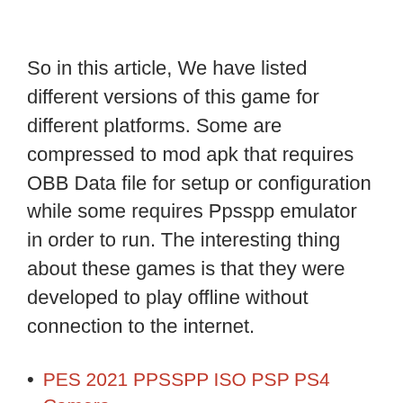So in this article, We have listed different versions of this game for different platforms. Some are compressed to mod apk that requires OBB Data file for setup or configuration while some requires Ppsspp emulator in order to run. The interesting thing about these games is that they were developed to play offline without connection to the internet.
PES 2021 PPSSPP ISO PSP PS4 Camera
PES Lite 2021 PPSSPP